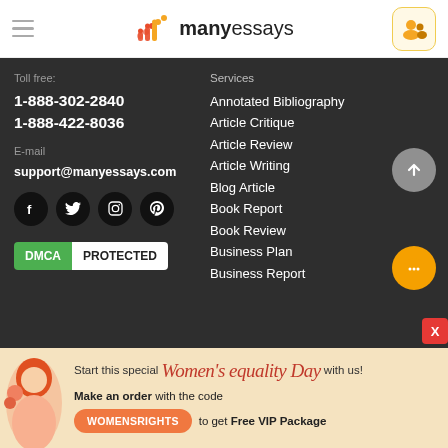manyessays
Toll free:
1-888-302-2840
1-888-422-8036
E-mail
support@manyessays.com
[Figure (logo): DMCA PROTECTED badge]
Services
Annotated Bibliography
Article Critique
Article Review
Article Writing
Blog Article
Book Report
Book Review
Business Plan
Business Report
Start this special Women's equality Day with us! Make an order with the code WOMENSRIGHTS to get Free VIP Package